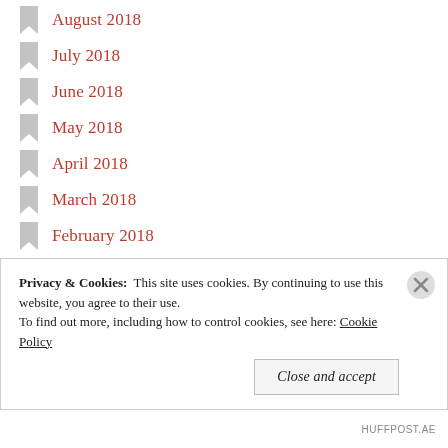August 2018
July 2018
June 2018
May 2018
April 2018
March 2018
February 2018
January 2018
December 2017
November 2017
October 2017
September 2017
August 2017
Privacy & Cookies:  This site uses cookies. By continuing to use this website, you agree to their use. To find out more, including how to control cookies, see here: Cookie Policy
Close and accept